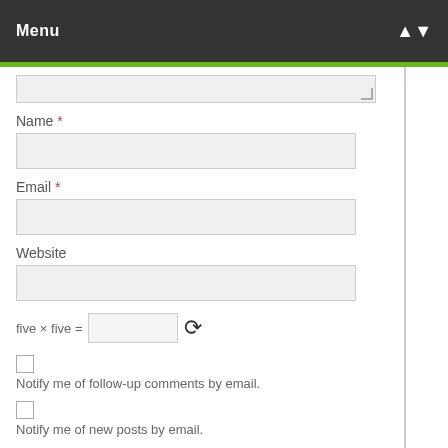Menu
Name *
Email *
Website
five × five =
Notify me of follow-up comments by email.
Notify me of new posts by email.
Post Comment
This site uses Akismet to reduce spam. Learn how your comment data is processed.